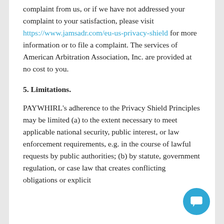complaint from us, or if we have not addressed your complaint to your satisfaction, please visit https://www.jamsadr.com/eu-us-privacy-shield for more information or to file a complaint. The services of American Arbitration Association, Inc. are provided at no cost to you.
5. Limitations.
PAYWHIRL's adherence to the Privacy Shield Principles may be limited (a) to the extent necessary to meet applicable national security, public interest, or law enforcement requirements, e.g. in the course of lawful requests by public authorities; (b) by statute, government regulation, or case law that creates conflicting obligations or explicit